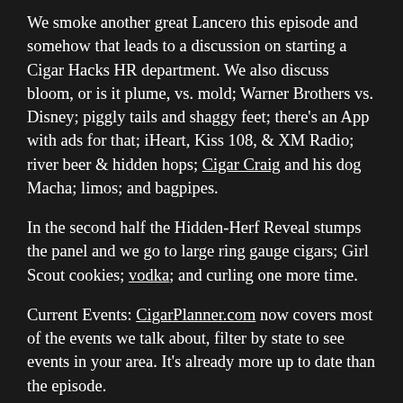We smoke another great Lancero this episode and somehow that leads to a discussion on starting a Cigar Hacks HR department. We also discuss bloom, or is it plume, vs. mold; Warner Brothers vs. Disney; piggly tails and shaggy feet; there's an App with ads for that; iHeart, Kiss 108, & XM Radio; river beer & hidden hops; Cigar Craig and his dog Macha; limos; and bagpipes.
In the second half the Hidden-Herf Reveal stumps the panel and we go to large ring gauge cigars; Girl Scout cookies; vodka; and curling one more time.
Current Events: CigarPlanner.com now covers most of the events we talk about, filter by state to see events in your area. It's already more up to date than the episode.
Local Spotlight: Cigar and Lounge – Watertown MA. A lounge with a walk-in humidor that contains a collection of